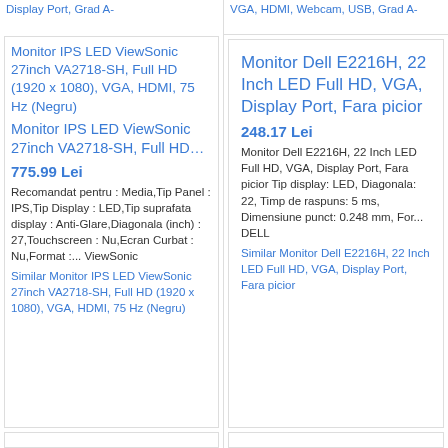Display Port, Grad A-
VGA, HDMI, Webcam, USB, Grad A-
[Figure (photo): Monitor IPS LED ViewSonic 27inch VA2718-SH product image placeholder]
Monitor IPS LED ViewSonic 27inch VA2718-SH, Full HD (1920 x 1080), VGA, HDMI, 75 Hz (Negru)
Monitor IPS LED ViewSonic 27inch VA2718-SH, Full HD…
775.99 Lei
Recomandat pentru : Media,Tip Panel : IPS,Tip Display : LED,Tip suprafata display : Anti-Glare,Diagonala (inch) : 27,Touchscreen : Nu,Ecran Curbat : Nu,Format :... ViewSonic
Similar Monitor IPS LED ViewSonic 27inch VA2718-SH, Full HD (1920 x 1080), VGA, HDMI, 75 Hz (Negru)
Monitor Dell E2216H, 22 Inch LED Full HD, VGA, Display Port, Fara picior
248.17 Lei
Monitor Dell E2216H, 22 Inch LED Full HD, VGA, Display Port, Fara picior Tip display: LED, Diagonala: 22, Timp de raspuns: 5 ms, Dimensiune punct: 0.248 mm, For... DELL
Similar Monitor Dell E2216H, 22 Inch LED Full HD, VGA, Display Port, Fara picior